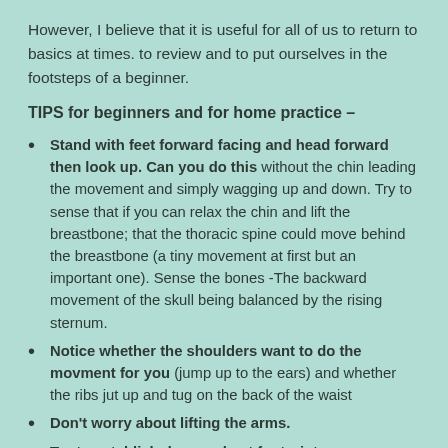However, I believe that it is useful for all of us to return to basics at times. to review and to put ourselves in the footsteps of a beginner.
TIPS for beginners and for home practice –
Stand with feet forward facing and head forward then look up. Can you do this without the chin leading the movement and simply wagging up and down. Try to sense that if you can relax the chin and lift the breastbone; that the thoracic spine could move behind the breastbone (a tiny movement at first but an important one). Sense the bones -The backward movement of the skull being balanced by the rising sternum.
Notice whether the shoulders want to do the movment for you (jump up to the ears) and whether the ribs jut up and tug on the back of the waist
Don't worry about lifting the arms.
Try to establish do-your-best footprints
Take a normal step forward and try to make the footprints as